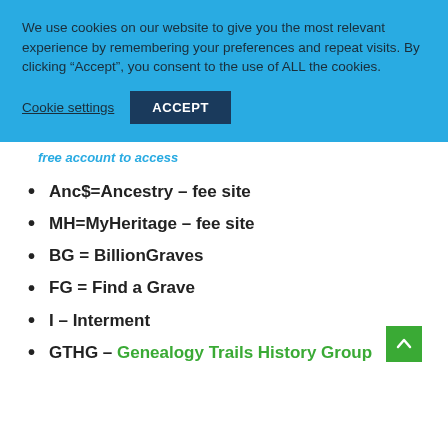We use cookies on our website to give you the most relevant experience by remembering your preferences and repeat visits. By clicking “Accept”, you consent to the use of ALL the cookies.
Cookie settings
ACCEPT
free account to access
Anc$=Ancestry – fee site
MH=MyHeritage – fee site
BG = BillionGraves
FG = Find a Grave
I – Interment
GTHG – Genealogy Trails History Group